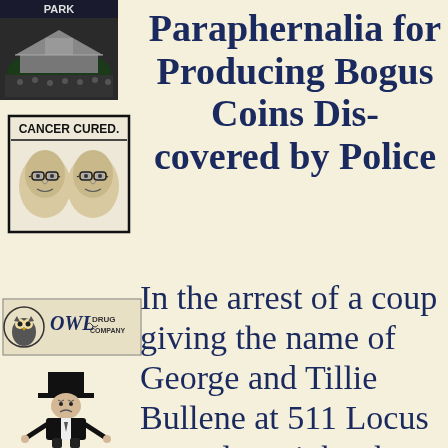[Figure (photo): Black and white photo of a park/stadium with crowd and pavilion structure, labeled PARK at top]
Paraphernalia for Producing Bogus Coins Discovered by Police
[Figure (illustration): Advertisement illustration showing two faces with text CANCER CURED. at top]
[Figure (logo): Owl Drug Company logo with owl illustration and text OWL DRUG COMPANY]
In the arrest of a couple giving the name of George and Tillie Bullene at 511 Locus street last night, the police are certain the
[Figure (illustration): Monopoly-style top hat gentleman illustration]